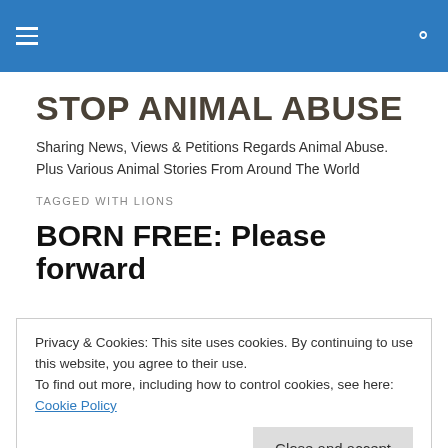Stop Animal Abuse (navigation header with hamburger menu and search icon)
STOP ANIMAL ABUSE
Sharing News, Views & Petitions Regards Animal Abuse. Plus Various Animal Stories From Around The World
TAGGED WITH LIONS
BORN FREE: Please forward
Privacy & Cookies: This site uses cookies. By continuing to use this website, you agree to their use.
To find out more, including how to control cookies, see here: Cookie Policy
Close and accept